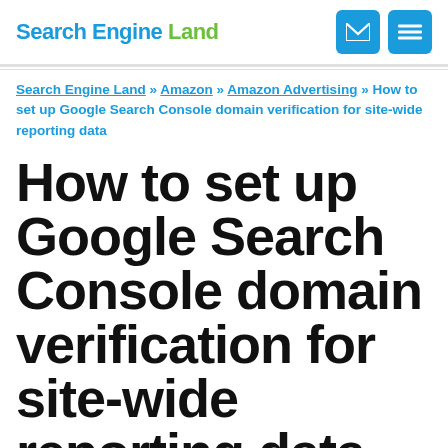Search Engine Land
Search Engine Land » Amazon » Amazon Advertising » How to set up Google Search Console domain verification for site-wide reporting data
How to set up Google Search Console domain verification for site-wide reporting data
Getting technical: What you need to know